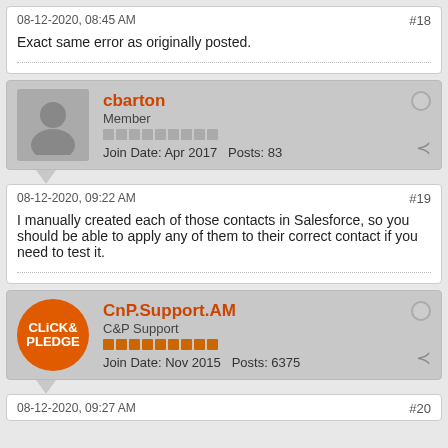08-12-2020, 08:45 AM
#18
Exact same error as originally posted.
cbarton
Member
Join Date: Apr 2017   Posts: 83
08-12-2020, 09:22 AM
#19
I manually created each of those contacts in Salesforce, so you should be able to apply any of them to their correct contact if you need to test it.
CnP.Support.AM
C&P Support
Join Date: Nov 2015   Posts: 6375
08-12-2020, 09:27 AM
#20